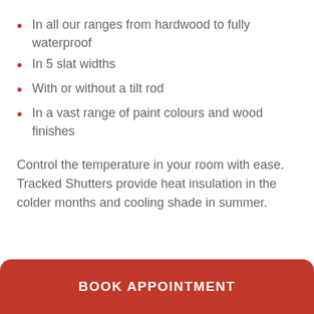In all our ranges from hardwood to fully waterproof
In 5 slat widths
With or without a tilt rod
In a vast range of paint colours and wood finishes
Control the temperature in your room with ease. Tracked Shutters provide heat insulation in the colder months and cooling shade in summer.
BOOK APPOINTMENT